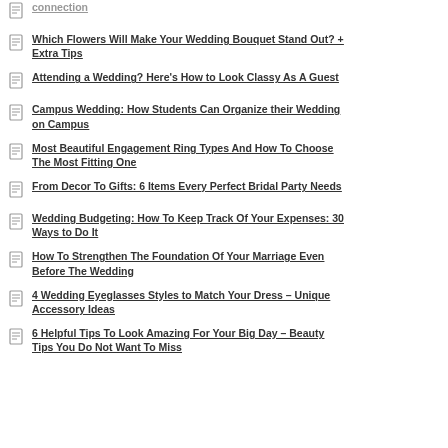Which Flowers Will Make Your Wedding Bouquet Stand Out? + Extra Tips
Attending a Wedding? Here's How to Look Classy As A Guest
Campus Wedding: How Students Can Organize their Wedding on Campus
Most Beautiful Engagement Ring Types And How To Choose The Most Fitting One
From Decor To Gifts: 6 Items Every Perfect Bridal Party Needs
Wedding Budgeting: How To Keep Track Of Your Expenses: 30 Ways to Do It
How To Strengthen The Foundation Of Your Marriage Even Before The Wedding
4 Wedding Eyeglasses Styles to Match Your Dress – Unique Accessory Ideas
6 Helpful Tips To Look Amazing For Your Big Day – Beauty Tips You Do Not Want To Miss